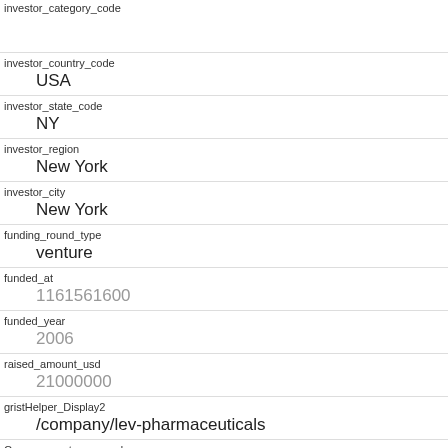| Field | Value |
| --- | --- |
| investor_category_code |  |
| investor_country_code | USA |
| investor_state_code | NY |
| investor_region | New York |
| investor_city | New York |
| funding_round_type | venture |
| funded_at | 1161561600 |
| funded_year | 2006 |
| raised_amount_usd | 21000000 |
| gristHelper_Display2 | /company/lev-pharmaceuticals |
| Company_category_code |  |